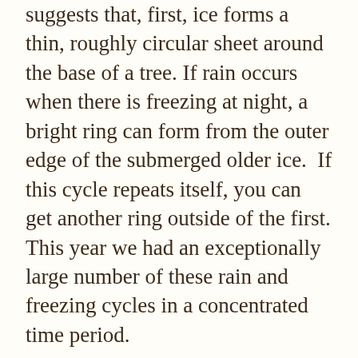suggests that, first, ice forms a thin, roughly circular sheet around the base of a tree. If rain occurs when there is freezing at night, a bright ring can form from the outer edge of the submerged older ice.  If this cycle repeats itself, you can get another ring outside of the first. This year we had an exceptionally large number of these rain and freezing cycles in a concentrated time period.
However you look at them, these little universes of pattern are a remarkable sight. They’re a good thing to search for on your next winter hike at the Center. Just remember to remain on the boardwalks near the pond and lake, but feel free to bend down close to see the formations in detail.